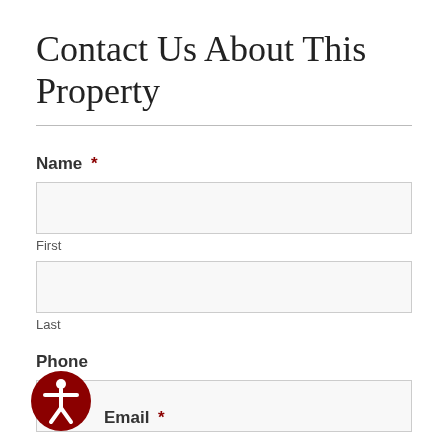Contact Us About This Property
Name *
First
Last
Phone
Email *